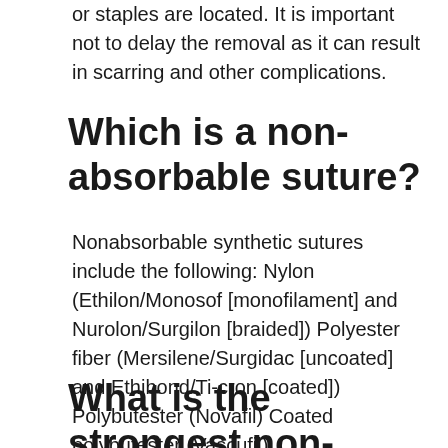or staples are located. It is important not to delay the removal as it can result in scarring and other complications.
Which is a non-absorbable suture?
Nonabsorbable synthetic sutures include the following: Nylon (Ethilon/Monosof [monofilament] and Nurolon/Surgilon [braided]) Polyester fiber (Mersilene/Surgidac [uncoated] and Ethibond/Ti-cron [coated]) Polybutester (Novafil) Coated polybutester (Vascufil)
What is the strongest non-absorbable sutures?